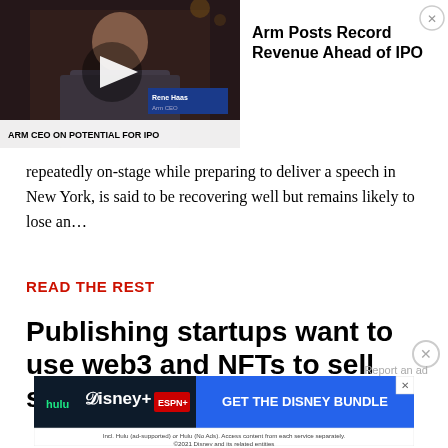[Figure (screenshot): Video player overlay showing a man in a studio setting with play button, lower-third 'ARM CEO ON POTENTIAL FOR IPO', and name tag 'Rene Haas, Arm CEO']
Arm Posts Record Revenue Ahead of IPO
repeatedly on-stage while preparing to deliver a speech in New York, is said to be recovering well but remains likely to lose an…
READ THE REST
Publishing startups want to use web3 and NFTs to sell shares in books
[Figure (screenshot): Disney Bundle advertisement banner with Hulu, Disney+, ESPN+ logos and 'GET THE DISNEY BUNDLE' CTA. Fine print: Incl. Hulu (ad-supported) or Hulu (No Ads). Access content from each service separately. ©2021 Disney and its related entities]